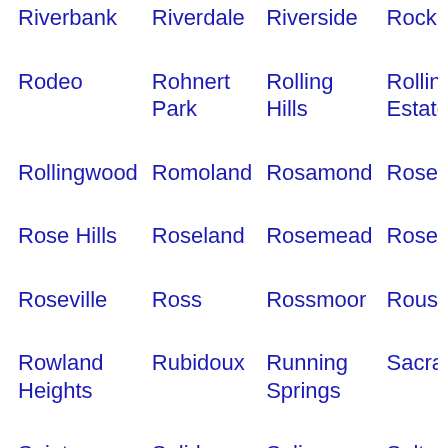Riverbank
Riverdale
Riverside
Rock...
Rodeo
Rohnert Park
Rolling Hills
Rolling Estates...
Rollingwood
Romoland
Rosamond
Rosec...
Rose Hills
Roseland
Rosemead
Rosen...
Roseville
Ross
Rossmoor
Rouse...
Rowland Heights
Rubidoux
Running Springs
Sacra...
Saint Helena
Salida
Salinas
Salton...
San Andreas
San Anselmo
San Antonio Heights
San...